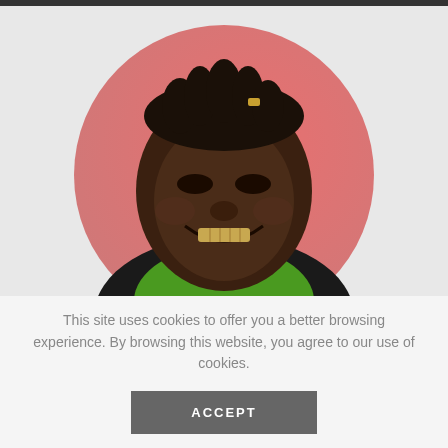[Figure (photo): A smiling young man with short dreadlocks, wearing a bright green top, with gold grillz on his teeth. He is positioned in front of a large pink/salmon-colored circle on a light grey background.]
This site uses cookies to offer you a better browsing experience. By browsing this website, you agree to our use of cookies.
ACCEPT